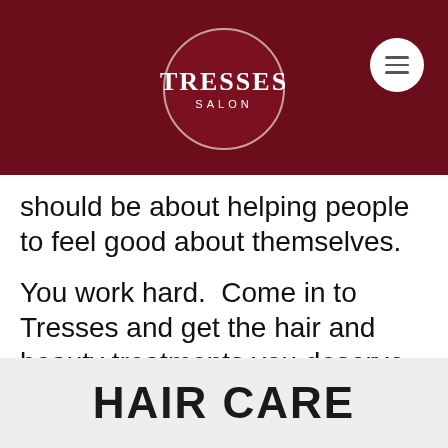TRESSES SALON
should be about helping people to feel good about themselves.
You work hard.  Come in to Tresses and get the hair and beauty treatments you deserve.
HAIR CARE